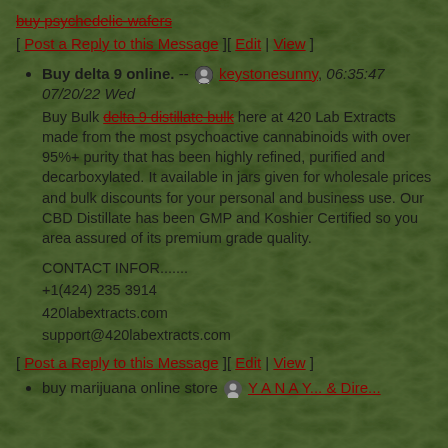buy psychedelic-wafers
[ Post a Reply to this Message ][ Edit | View ]
Buy delta 9 online. -- keystonesunny, 06:35:47 07/20/22 Wed
Buy Bulk delta 9 distillate bulk here at 420 Lab Extracts made from the most psychoactive cannabinoids with over 95%+ purity that has been highly refined, purified and decarboxylated. It available in jars given for wholesale prices and bulk discounts for your personal and business use. Our CBD Distillate has been GMP and Koshier Certified so you area assured of its premium grade quality.

CONTACT INFOR.......
+1(424) 235 3914
420labextracts.com
support@420labextracts.com
[ Post a Reply to this Message ][ Edit | View ]
buy marijuana online store